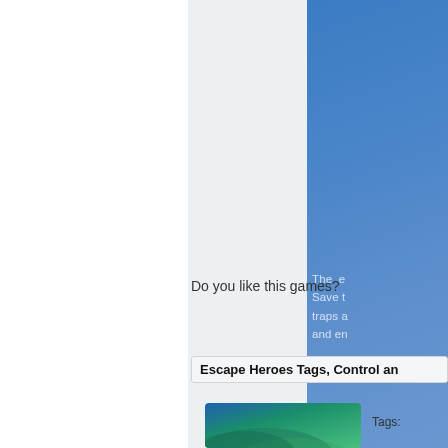[Figure (screenshot): Partial screenshot of a game website page showing a blue gradient panel with partial text about a game, a 'Do you like this games?' prompt, an 'Escape Heroes Tags, Control an...' section header, and a game thumbnail at the bottom.]
The e Save t traps a and en
Do you like this games?
Escape Heroes Tags, Control an
Tags: